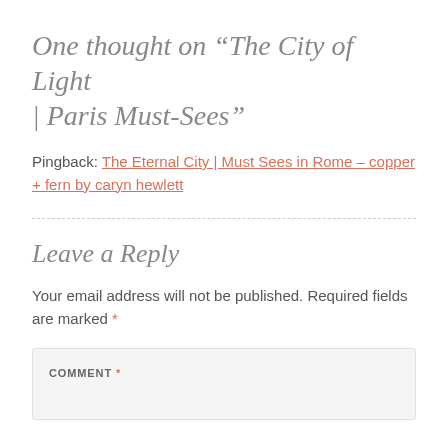One thought on “The City of Light | Paris Must-Sees”
Pingback: The Eternal City | Must Sees in Rome – copper + fern by caryn hewlett
Leave a Reply
Your email address will not be published. Required fields are marked *
COMMENT *